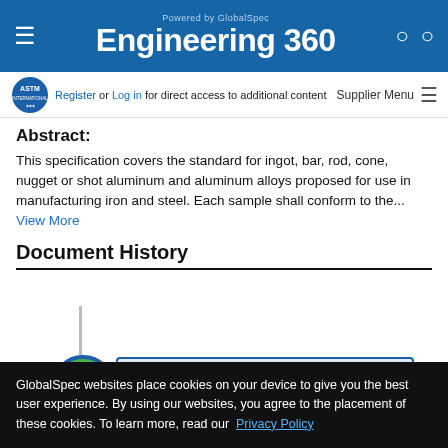Engineering 360 — Powered by GlobalSpec
Register or Log in for direct access to additional content | Supplier Menu
Abstract:
This specification covers the standard for ingot, bar, rod, cone, nugget or shot aluminum and aluminum alloys proposed for use in manufacturing iron and steel. Each sample shall conform to the... View More
Document History
[Figure (infographic): Document history timeline showing ASTM B37-18 dated May 1, 2018 with a green checkmark circle icon]
ASTM B37-18    May 1, 2018
GlobalSpec websites place cookies on your device to give you the best user experience. By using our websites, you agree to the placement of these cookies. To learn more, read our Privacy Policy